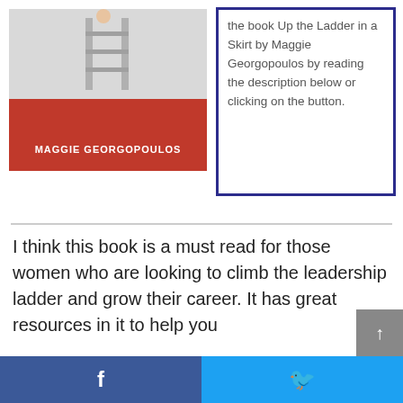[Figure (photo): Book cover of 'Up the Ladder in a Skirt' by Maggie Georgopoulos — red cover with white author name text and subtitle about leadership]
the book Up the Ladder in a Skirt by Maggie Georgopoulos by reading the description below or clicking on the button.
I think this book is a must read for those women who are looking to climb the leadership ladder and grow their career. It has great resources in it to help you
[Figure (screenshot): Social share bar with Facebook (blue) and Twitter (cyan) share buttons at the bottom, and a grey scroll-up arrow button]